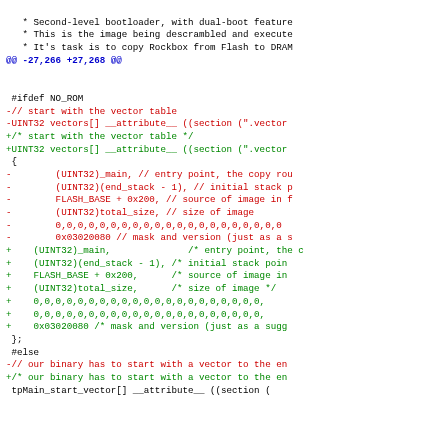* Second-level bootloader, with dual-boot feature
 * This is the image being descrambled and execute
 * It's task is to copy Rockbox from Flash to DRAM
@@ -27,266 +27,268 @@
#ifdef NO_ROM
-// start with the vector table
-UINT32 vectors[] __attribute__ ((section (".vector
+/* start with the vector table */
+UINT32 vectors[] __attribute__ ((section (".vector
 {
-        (UINT32)_main, // entry point, the copy rou
-        (UINT32)(end_stack - 1), // initial stack p
-        FLASH_BASE + 0x200, // source of image in f
-        (UINT32)total_size, // size of image
-        0,0,0,0,0,0,0,0,0,0,0,0,0,0,0,0,0,0,0,0,0
-        0x03020080 // mask and version (just as a s
+    (UINT32)_main,              /* entry point, the c
+    (UINT32)(end_stack - 1), /* initial stack poin
+    FLASH_BASE + 0x200,      /* source of image in
+    (UINT32)total_size,      /* size of image */
+    0,0,0,0,0,0,0,0,0,0,0,0,0,0,0,0,0,0,0,0,0,
+    0,0,0,0,0,0,0,0,0,0,0,0,0,0,0,0,0,0,0,0,0,
+    0x03020080 /* mask and version (just as a sugg
 };
 #else
-// our binary has to start with a vector to the en
+/* our binary has to start with a vector to the en
 tpMain_start_vector[] __attribute__ ((section (